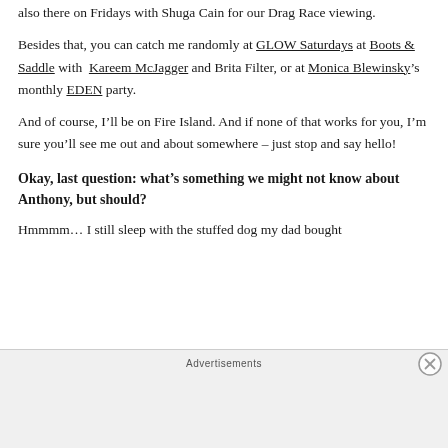also there on Fridays with Shuga Cain for our Drag Race viewing.
Besides that, you can catch me randomly at GLOW Saturdays at Boots & Saddle with Kareem McJagger and Brita Filter, or at Monica Blewinsky’s monthly EDEN party.
And of course, I’ll be on Fire Island. And if none of that works for you, I’m sure you’ll see me out and about somewhere – just stop and say hello!
Okay, last question: what’s something we might not know about Anthony, but should?
Hmmmm… I still sleep with the stuffed dog my dad bought
Advertisements